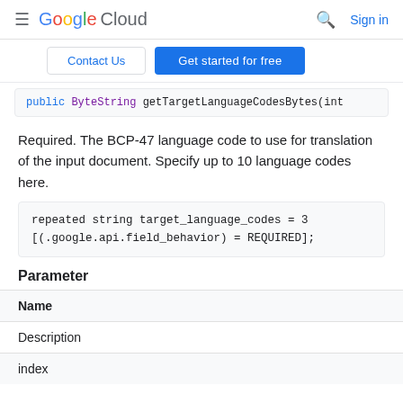Google Cloud  Sign in
Contact Us  Get started for free
public ByteString getTargetLanguageCodesBytes(int
Required. The BCP-47 language code to use for translation of the input document. Specify up to 10 language codes here.
repeated string target_language_codes = 3
[(.google.api.field_behavior) = REQUIRED];
Parameter
| Name | Description |
| --- | --- |
| index |  |